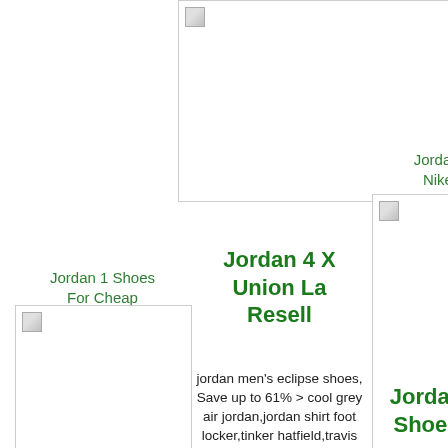[Figure (photo): Placeholder image top center, partially visible]
Jordan Shoes Nike Outlet
[Figure (photo): Jordan Shoes Nike Outlet image placeholder, partially cut off at right]
Jordan 1 Shoes For Cheap
[Figure (photo): Jordan 1 Shoes For Cheap image placeholder]
Jordan 4 X Union La Resell
jordan men's eclipse shoes, Save up to 61% > cool grey air jordan,jordan shirt foot locker,tinker hatfield,travis jordan hoodie,jordan
Jordan Shoes